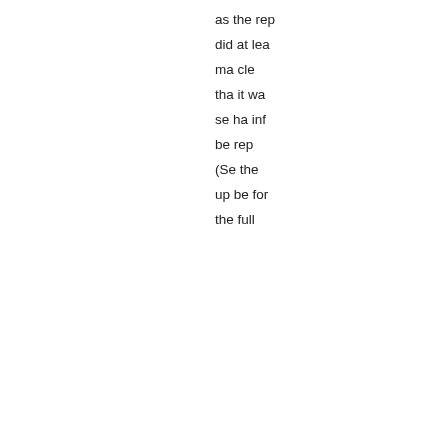as the rep did at lea ma cle tha it wa se ha inf be re (Se the up be for the full